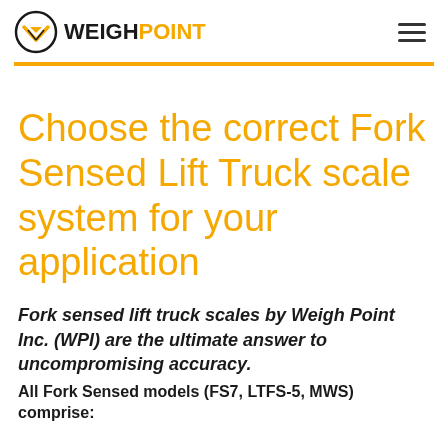WEIGH POINT
Choose the correct Fork Sensed Lift Truck scale system for your application
Fork sensed lift truck scales by Weigh Point Inc. (WPI) are the ultimate answer to uncompromising accuracy.
All Fork Sensed models (FS7, LTFS-5, MWS) comprise: